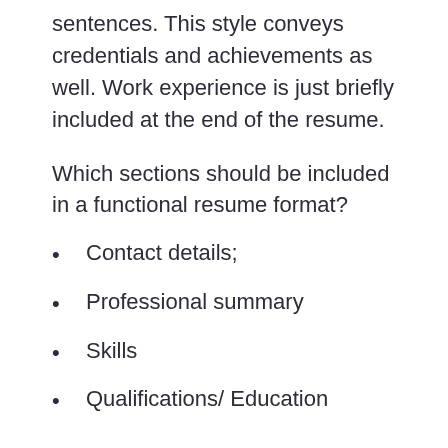sentences. This style conveys credentials and achievements as well. Work experience is just briefly included at the end of the resume.
Which sections should be included in a functional resume format?
Contact details;
Professional summary
Skills
Qualifications/ Education